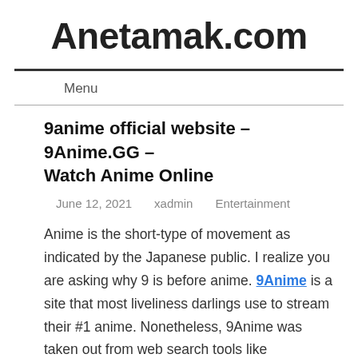Anetamak.com
Menu
9anime official website – 9Anime.GG – Watch Anime Online
June 12, 2021   xadmin   Entertainment
Anime is the short-type of movement as indicated by the Japanese public. I realize you are asking why 9 is before anime. 9Anime is a site that most liveliness darlings use to stream their #1 anime. Nonetheless, 9Anime was taken out from web search tools like